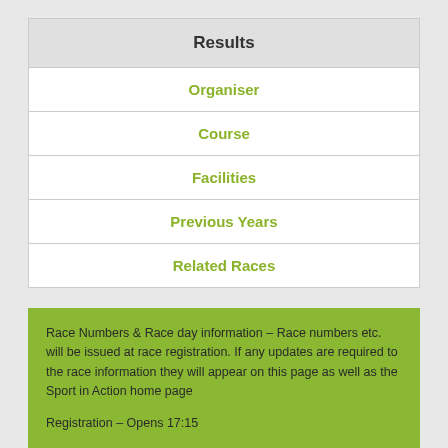| Results |
| --- |
| Organiser |
| Course |
| Facilities |
| Previous Years |
| Related Races |
Race Numbers & Race day information – Race numbers etc. will be issued at race registration. If any updates are required to the race information they will appear on this page as well as the Sport in Action home page
Registration – Opens 17:15
Course – The event uses a mixture of park paths, Pavements and quiet roads which are flat or gently undulating. The road